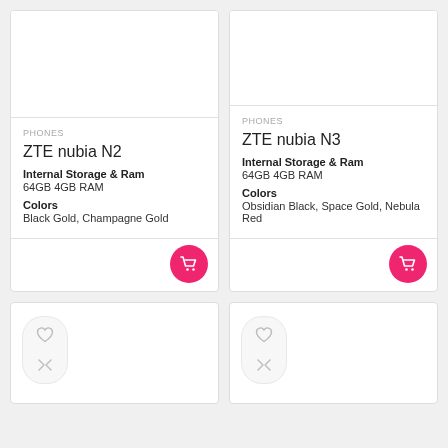PHONES
ZTE nubia N2
Internal Storage & Ram
64GB 4GB RAM
Colors
Black Gold, Champagne Gold
PHONES
ZTE nubia N3
Internal Storage & Ram
64GB 4GB RAM
Colors
Obsidian Black, Space Gold, Nebula Red
[Figure (other): Lower left product card with heart and compare icons]
[Figure (other): Lower right product card with heart and compare icons]